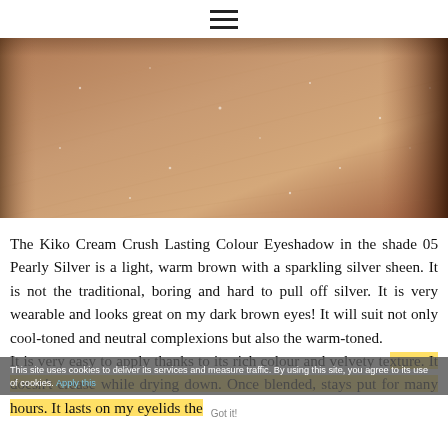≡ (hamburger menu icon)
[Figure (photo): Close-up photograph of skin (possibly an arm or eyelid) showing warm brown/tan skin texture with subtle shimmer or sparkle, on a dark brown background edge on the right.]
The Kiko Cream Crush Lasting Colour Eyeshadow in the shade 05 Pearly Silver is a light, warm brown with a sparkling silver sheen. It is not the traditional, boring and hard to pull off silver. It is very wearable and looks great on my dark brown eyes! It will suit not only cool-toned and neutral complexions but also the warm-toned. It is very easy to apply thanks to its rich colour and velvety texture. It doesn't crease while drying down. Once blended, stays put for many hours. It lasts on my eyelids the
This site uses cookies to deliver its services and measure traffic. By using this site, you agree to its use of cookies. Apply this
Got it!